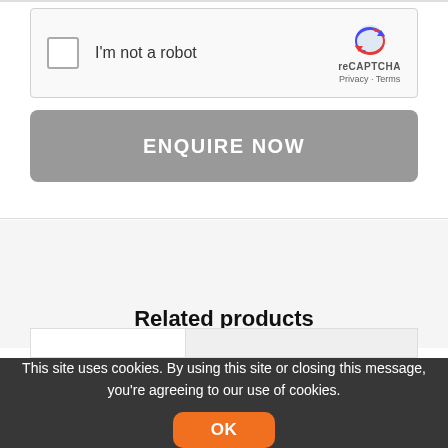[Figure (other): reCAPTCHA widget with checkbox labeled 'I'm not a robot' and reCAPTCHA logo with Privacy and Terms links]
ENQUIRE NOW
Related products
This site uses cookies. By using this site or closing this message, you're agreeing to our use of cookies.
OK